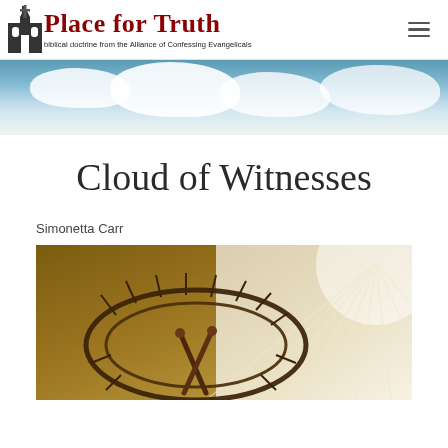Place for Truth — biblical doctrine from the Alliance of Confessing Evangelicals
[Figure (photo): Hero banner with sky and clouds]
Cloud of Witnesses
Simonetta Carr
[Figure (photo): Crown of thorns with nails on a wooden surface, with rays of light in the background]